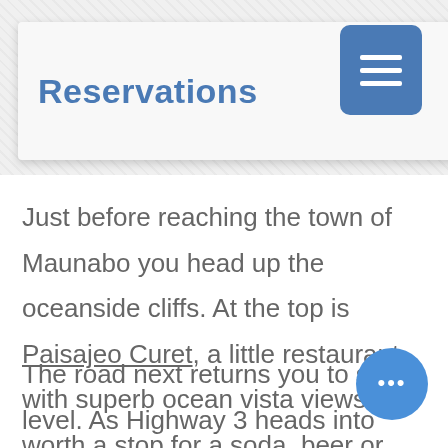Reservations
Just before reaching the town of Maunabo you head up the oceanside cliffs. At the top is Paisajeo Curet, a little restaurant with superb ocean vista views. It is worth a stop for a soda, beer or bathroom break and photos as you ooooh and ahhhh over the beauty of your surroundings.
The road next returns you to sea level. As Highway 3 heads into the mountains...